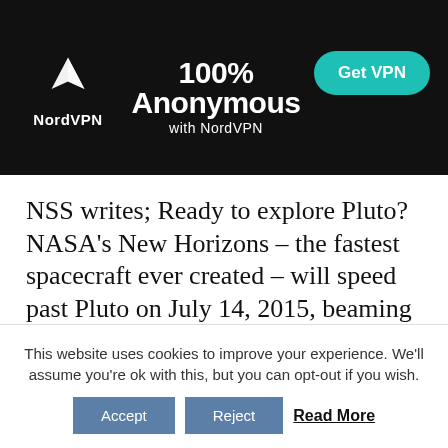[Figure (illustration): NordVPN advertisement banner with dark background. Shows NordVPN logo (mountain/shield icon) on left with 'NordVPN' text below, '100% Anonymous with NordVPN' headline in center, and a teal 'Get VPN' button on right. Dark background with a car silhouette image in the center-right area.]
NSS writes; Ready to explore Pluto? NASA's New Horizons – the fastest spacecraft ever created – will speed past Pluto on July 14, 2015, beaming back high resolution photos (and invaluable data) of the dwarf planet's surface for the first time in
This website uses cookies to improve your experience. We'll assume you're ok with this, but you can opt-out if you wish.
Accept   Reject   Read More